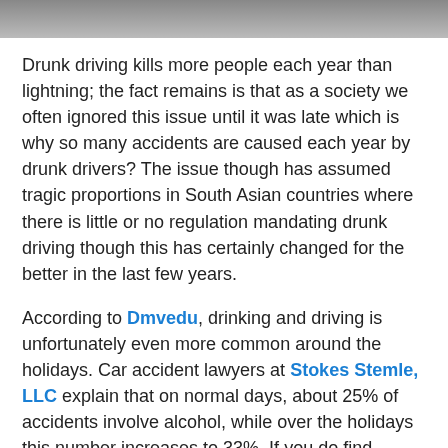[Figure (other): Gray gradient header bar at the top of the page]
Drunk driving kills more people each year than lightning; the fact remains is that as a society we often ignored this issue until it was late which is why so many accidents are caused each year by drunk drivers? The issue though has assumed tragic proportions in South Asian countries where there is little or no regulation mandating drunk driving though this has certainly changed for the better in the last few years.
According to Dmvedu, drinking and driving is unfortunately even more common around the holidays. Car accident lawyers at Stokes Stemle, LLC explain that on normal days, about 25% of accidents involve alcohol, while over the holidays this number increases to 33%. If you do find yourself in an accident, don't hesitate to seek help from an experienced attorney.